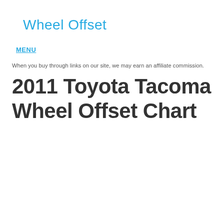Wheel Offset
MENU
When you buy through links on our site, we may earn an affiliate commission.
2011 Toyota Tacoma Wheel Offset Chart